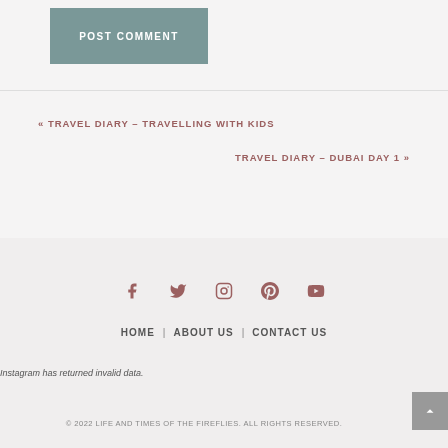POST COMMENT
« TRAVEL DIARY – TRAVELLING WITH KIDS
TRAVEL DIARY – DUBAI DAY 1 »
[Figure (infographic): Social media icons: Facebook, Twitter, Instagram, Pinterest, YouTube]
HOME | ABOUT US | CONTACT US
Instagram has returned invalid data.
© 2022 LIFE AND TIMES OF THE FIREFLIES. ALL RIGHTS RESERVED.